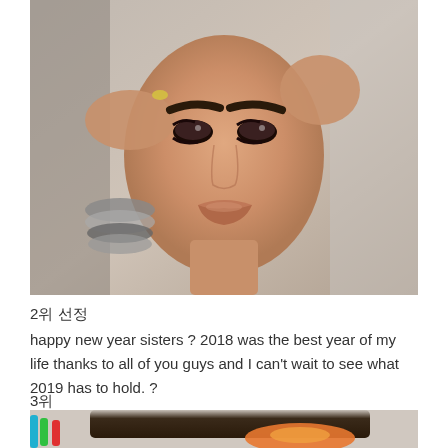[Figure (photo): Close-up photo of a person wearing heavy makeup with dramatic eye makeup, full lips with nude/bronze lipstick, wearing silver bangles/bracelets, hands framing face, against a light background.]
2위 선정
happy new year sisters ? 2018 was the best year of my life thanks to all of you guys and I can't wait to see what 2019 has to hold. ?
3위
[Figure (photo): Partial photo showing the back/top of a person's head with dark hair, with colorful markers (teal, green, red) visible on the left side, and an orange/red painted or drawn image on the back of the head.]